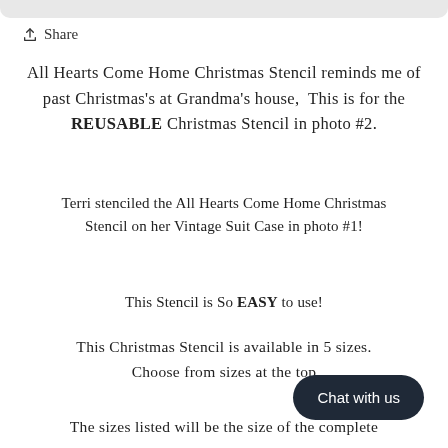Share
All Hearts Come Home Christmas Stencil reminds me of past Christmas's at Grandma's house,  This is for the REUSABLE Christmas Stencil in photo #2.
Terri stenciled the All Hearts Come Home Christmas Stencil on her Vintage Suit Case in photo #1!
This Stencil is So EASY to use!
This Christmas Stencil is available in 5 sizes. Choose from sizes at the top
The sizes listed will be the size of the complete